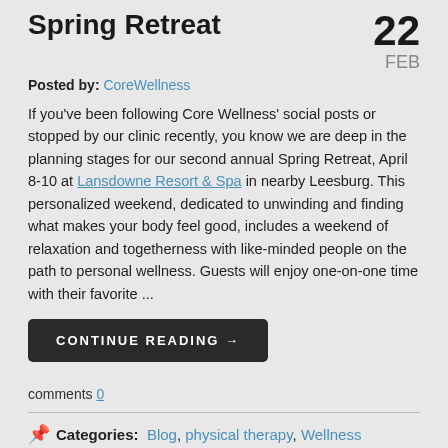Spring Retreat
22 FEB
Posted by: CoreWellness
If you've been following Core Wellness' social posts or stopped by our clinic recently, you know we are deep in the planning stages for our second annual Spring Retreat, April 8-10 at Lansdowne Resort & Spa in nearby Leesburg. This personalized weekend, dedicated to unwinding and finding what makes your body feel good, includes a weekend of relaxation and togetherness with like-minded people on the path to personal wellness. Guests will enjoy one-on-one time with their favorite ...
CONTINUE READING →
comments 0
Categories: Blog, physical therapy, Wellness
Tags: alexandria, arlington, holistic health, nutrition, physical therapy, post-natal physical therapy, wellness, women's health issues